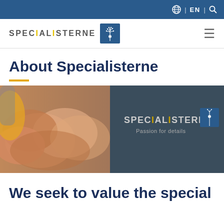EN | globe icon | search icon
[Figure (logo): Specialisterne logo with dandelion emblem and hamburger menu]
About Specialisterne
[Figure (photo): Hero banner showing multiple hands stacked together with Specialisterne logo and tagline 'Passion for details' overlaid on right side]
We seek to value the special